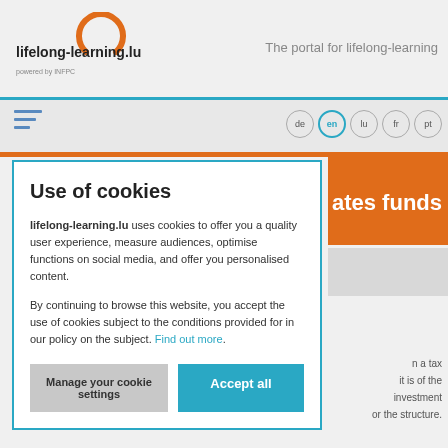[Figure (logo): lifelong-learning.lu logo with orange circle arc and 'powered by INFPC' text]
The portal for lifelong-learning
[Figure (infographic): Navigation bar with hamburger menu icon (blue lines) and language buttons: de, en (active), lu, fr, pt]
ates funds
Use of cookies
lifelong-learning.lu uses cookies to offer you a quality user experience, measure audiences, optimise functions on social media, and offer you personalised content.
By continuing to browse this website, you accept the use of cookies subject to the conditions provided for in our policy on the subject. Find out more.
Manage your cookie settings
Accept all
n a tax
it is of the
investment
or the structure.